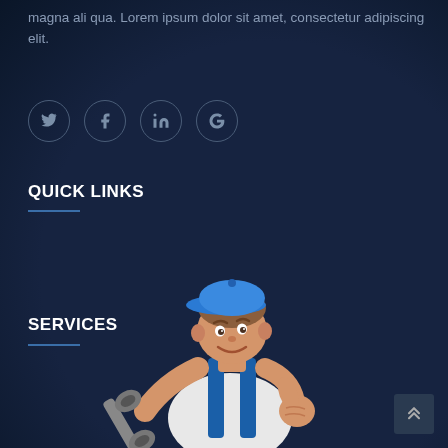magna ali qua. Lorem ipsum dolor sit amet, consectetur adipiscing elit.
[Figure (illustration): Four circular social media icons: Twitter (bird), Facebook (f), LinkedIn (in), Google (G)]
QUICK LINKS
SERVICES
[Figure (illustration): Cartoon mechanic character wearing a blue cap and overalls, holding a wrench and giving a thumbs up]